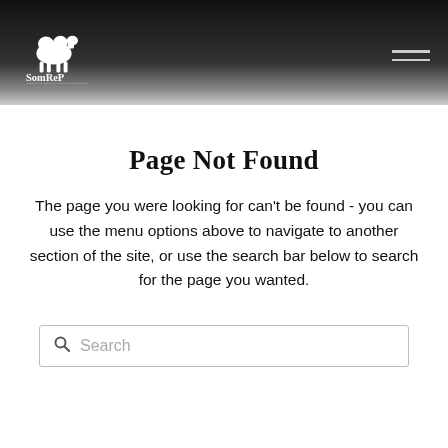[Figure (logo): SomReP logo with camel icon and text 'SomReP' in white on dark gradient header background, with hamburger menu icon top right]
Page Not Found
The page you were looking for can't be found - you can use the menu options above to navigate to another section of the site, or use the search bar below to search for the page you wanted.
[Figure (screenshot): Search bar with magnifying glass icon and placeholder text 'Search']